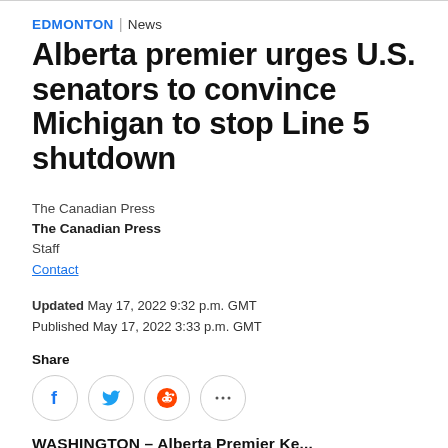EDMONTON | News
Alberta premier urges U.S. senators to convince Michigan to stop Line 5 shutdown
The Canadian Press
The Canadian Press
Staff
Contact
Updated May 17, 2022 9:32 p.m. GMT
Published May 17, 2022 3:33 p.m. GMT
Share
WASHINGTON – Alberta Premier Ke...